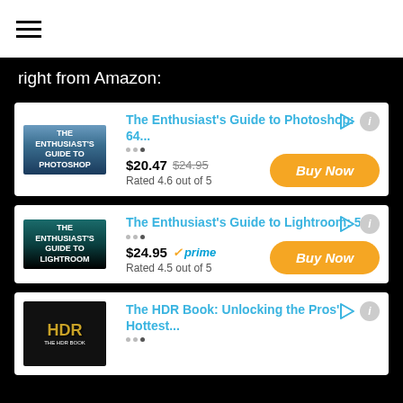right from Amazon:
[Figure (other): Product card: The Enthusiast's Guide to Photoshop: 64... $20.47 $24.95, Rated 4.6 out of 5, Buy Now button]
[Figure (other): Product card: The Enthusiast's Guide to Lightroom: 55... $24.95 Prime, Rated 4.5 out of 5, Buy Now button]
[Figure (other): Product card: The HDR Book: Unlocking the Pros' Hottest...]